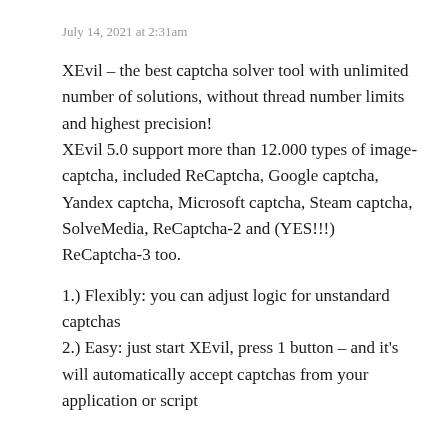July 14, 2021 at 2:31am
XEvil – the best captcha solver tool with unlimited number of solutions, without thread number limits and highest precision!
XEvil 5.0 support more than 12.000 types of image-captcha, included ReCaptcha, Google captcha, Yandex captcha, Microsoft captcha, Steam captcha, SolveMedia, ReCaptcha-2 and (YES!!!) ReCaptcha-3 too.
1.) Flexibly: you can adjust logic for unstandard captchas
2.) Easy: just start XEvil, press 1 button – and it's will automatically accept captchas from your application or script